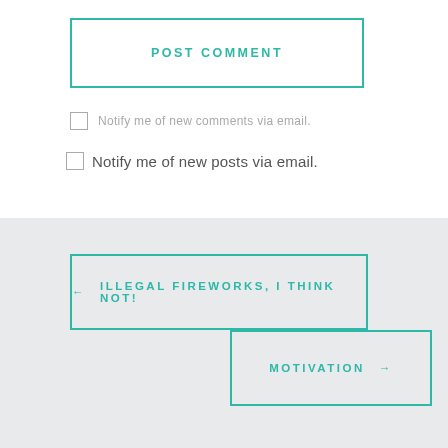POST COMMENT
Notify me of new comments via email.
Notify me of new posts via email.
← ILLEGAL FIREWORKS, I THINK NOT!
MOTIVATION →